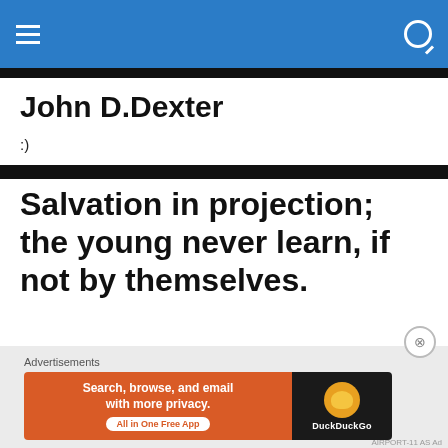John D.Dexter — site header with navigation
John D.Dexter
:)
Salvation in projection; the young never learn, if not by themselves.
In his last moment, no one had cried for him. It wasn't a surprise, nobody knew him. Although the inhabitants of the
Advertisements
[Figure (screenshot): DuckDuckGo advertisement banner: orange left side reading 'Search, browse, and email with more privacy. All in One Free App' and dark right side with DuckDuckGo logo and duck icon.]